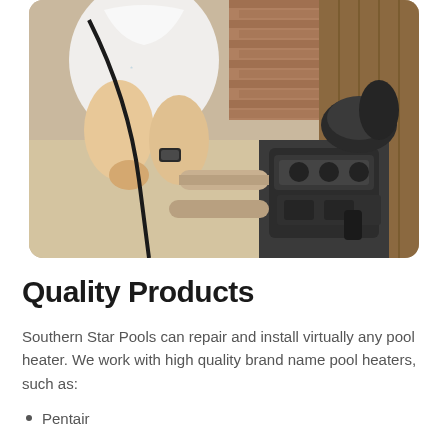[Figure (photo): A person wearing a white t-shirt and a watch works on pool equipment — pipes and a pump/motor unit — in an outdoor setting with brick wall and wooden fence in background.]
Quality Products
Southern Star Pools can repair and install virtually any pool heater. We work with high quality brand name pool heaters, such as:
Pentair